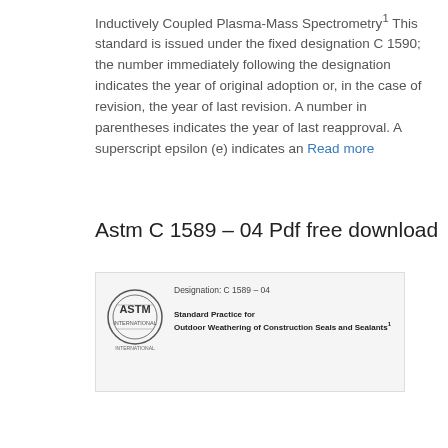Inductively Coupled Plasma-Mass Spectrometry1 This standard is issued under the fixed designation C 1590; the number immediately following the designation indicates the year of original adoption or, in the case of revision, the year of last revision. A number in parentheses indicates the year of last reapproval. A superscript epsilon (e) indicates an Read more
Astm C 1589 – 04 Pdf free download
[Figure (other): Thumbnail preview of ASTM C 1589-04 standard document cover page showing ASTM International logo and title 'Standard Practice for Outdoor Weathering of Construction Seals and Sealants']